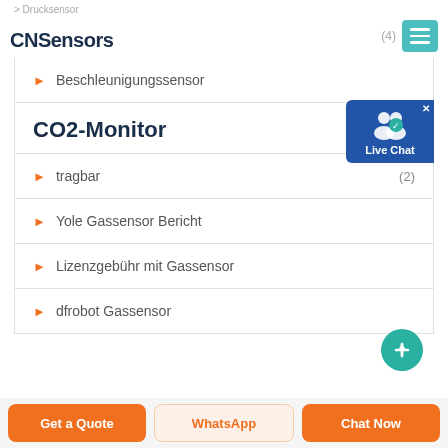> Drucksensor
CNSensors
(4)
> Beschleunigungssensor
CO2-Monitor
> tragbar (2)
> Yole Gassensor Bericht
> Lizenzgebühr mit Gassensor
> dfrobot Gassensor
Live Chat
Get a Quote | WhatsApp | Chat Now